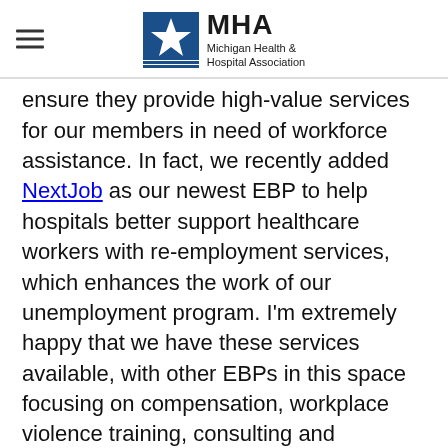MHA Michigan Health & Hospital Association
ensure they provide high-value services for our members in need of workforce assistance. In fact, we recently added NextJob as our newest EBP to help hospitals better support healthcare workers with re-employment services, which enhances the work of our unemployment program. I'm extremely happy that we have these services available, with other EBPs in this space focusing on compensation, workplace violence training, consulting and performance coaching.
Finally, as we look to the future, we know that telehealth and virtual care, which has seen an acceleration during the pandemic, has the pote be real game changers for the delivery of healthcare...